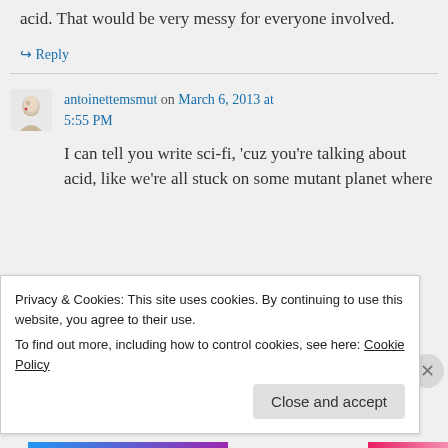acid. That would be very messy for everyone involved.
↪ Reply
antoinettemsmut on March 6, 2013 at 5:55 PM
I can tell you write sci-fi, ‘cuz you’re talking about acid, like we’re all stuck on some mutant planet where
Privacy & Cookies: This site uses cookies. By continuing to use this website, you agree to their use.
To find out more, including how to control cookies, see here: Cookie Policy
Close and accept